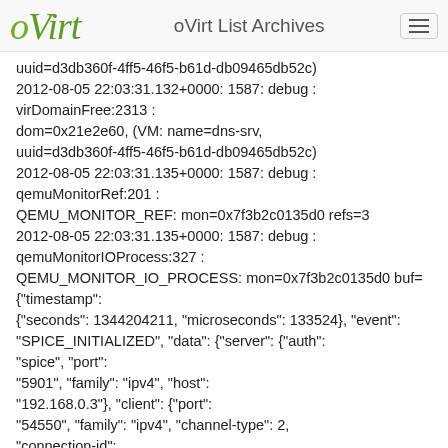oVirt List Archives
uuid=d3db360f-4ff5-46f5-b61d-db09465db52c)
2012-08-05 22:03:31.132+0000: 1587: debug :
virDomainFree:2313 :
dom=0x21e2e60, (VM: name=dns-srv,
uuid=d3db360f-4ff5-46f5-b61d-db09465db52c)
2012-08-05 22:03:31.135+0000: 1587: debug :
qemuMonitorRef:201 :
QEMU_MONITOR_REF: mon=0x7f3b2c0135d0 refs=3
2012-08-05 22:03:31.135+0000: 1587: debug :
qemuMonitorIOProcess:327 :
QEMU_MONITOR_IO_PROCESS: mon=0x7f3b2c0135d0 buf=
{"timestamp":
{"seconds": 1344204211, "microseconds": 133524}, "event":
"SPICE_INITIALIZED", "data": {"server": {"auth":
"spice", "port":
"5901", "family": "ipv4", "host":
"192.168.0.3"}, "client": {"port":
"54550", "family": "ipv4", "channel-type": 2,
"connection-id":
2145174067, "host": "192.168.0.156", "channel-id": 0,